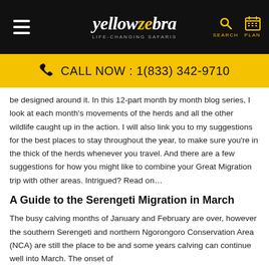yellowzebra LIFE-CHANGING SAFARIS | SEARCH | PLAN
CALL NOW : 1(833) 342-9710
be designed around it. In this 12-part month by month blog series, I look at each month's movements of the herds and all the other wildlife caught up in the action. I will also link you to my suggestions for the best places to stay throughout the year, to make sure you're in the thick of the herds whenever you travel. And there are a few suggestions for how you might like to combine your Great Migration trip with other areas. Intrigued? Read on…
A Guide to the Serengeti Migration in March
The busy calving months of January and February are over, however the southern Serengeti and northern Ngorongoro Conservation Area (NCA) are still the place to be and some years calving can continue well into March. The onset of